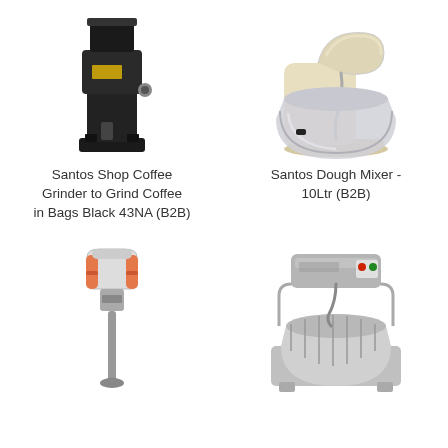[Figure (photo): Santos Shop Coffee Grinder - tall black floor-standing coffee grinder machine]
[Figure (photo): Santos Dough Mixer - cream/beige stand mixer with large stainless steel bowl]
Santos Shop Coffee Grinder to Grind Coffee in Bags Black 43NA (B2B)
Santos Dough Mixer - 10Ltr (B2B)
[Figure (photo): Orange and silver handheld immersion blender/mixer tool]
[Figure (photo): Large commercial spiral dough mixer, silver/grey industrial machine]